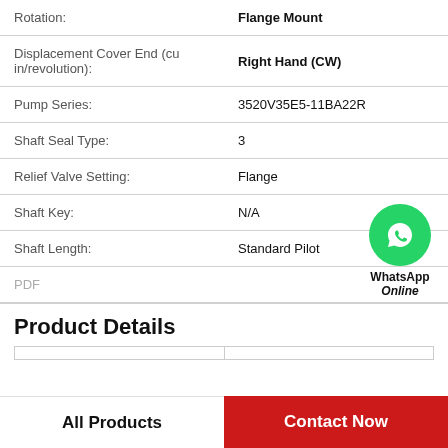| Property | Value |
| --- | --- |
| Rotation: | Flange Mount |
| Displacement Cover End (cu in/revolution): | Right Hand (CW) |
| Pump Series: | 3520V35E5-11BA22R |
| Shaft Seal Type: | 3 |
| Relief Valve Setting: | Flange |
| Shaft Key: | N/A |
| Shaft Length: | Standard Pilot |
| PDF |  |
Product Details
All Products
Contact Now